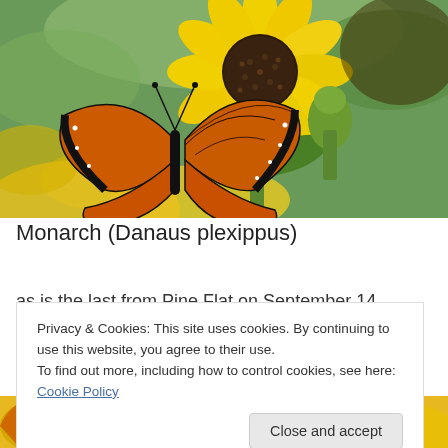[Figure (photo): A Monarch butterfly (Danaus plexippus) perched on a yellow sunflower against a green blurred background. The butterfly has distinctive orange and black wing pattern. A green sunflower bud is visible to the right.]
Monarch (Danaus plexippus)
as is the last from Pine Flat on September 14.
Privacy & Cookies: This site uses cookies. By continuing to use this website, you agree to their use.
To find out more, including how to control cookies, see here: Cookie Policy
Close and accept
[Figure (photo): Partial view of a Monarch butterfly on yellow flowers, cropped at bottom of page.]